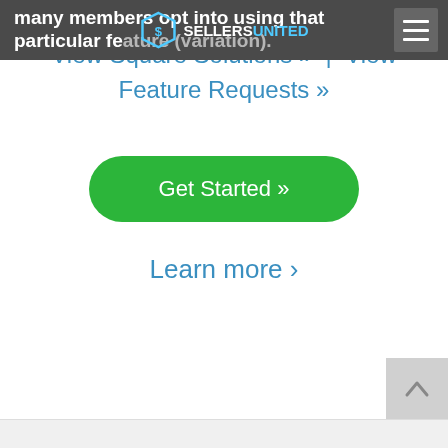many members opt into using that particular feature (variation). SELLERS UNITED
View Square Solutions » | View Feature Requests »
[Figure (other): Green rounded button with white text reading 'Get Started »']
Learn more ›